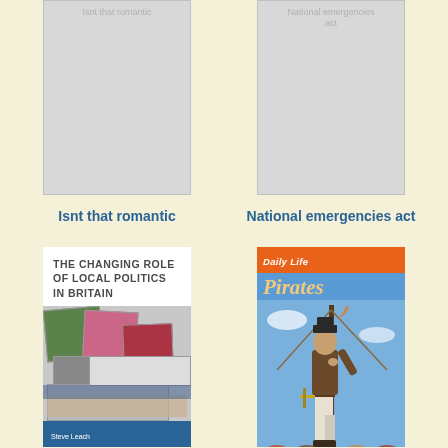[Figure (illustration): Placeholder book cover for 'Isnt that romantic' - grey rectangle with faint text label at top]
Isnt that romantic
[Figure (illustration): Placeholder book cover for 'National emergencies act' - grey rectangle with faint text label at top]
National emergencies act
[Figure (photo): Book cover: 'The Changing Role of Local Politics in Britain' by Steve Leach - white cover with title text and photo collage of political materials, blue author strip at bottom]
[Figure (photo): Book cover: 'Daily Life - Pirates' - blue background with orange header band reading 'Daily Life', gold italic title 'Pirates', and illustration of a pirate figure climbing a mast]